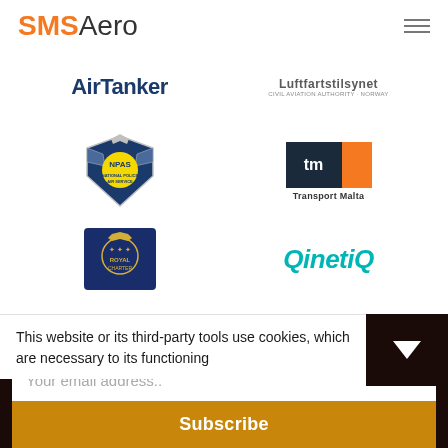[Figure (logo): SMSAero logo - SMS in orange bold, Aero in grey]
[Figure (logo): AirTanker text logo in dark blue bold]
[Figure (logo): Luftfartstilsynet - Civil Aviation Authority Norway logo]
[Figure (logo): NPAS (National Police Air Service) badge logo]
[Figure (logo): Transport Malta tm logo with dark and orange blocks]
[Figure (logo): UK royal crest blue badge logo]
[Figure (logo): QinetiQ logo in teal/cyan italic text]
This website or its third-party tools use cookies, which are necessary to its functioning
Sign-up to our newsletter
Your email address..
Subscribe